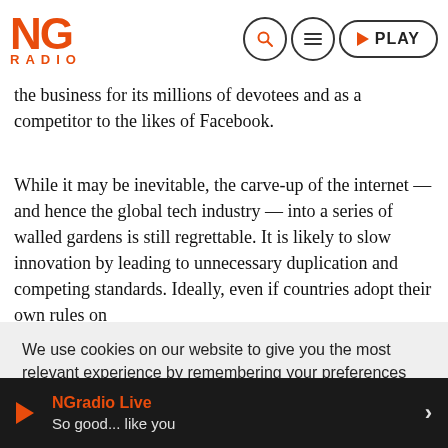NG RADIO
the business for its millions of devotees and as a competitor to the likes of Facebook.
While it may be inevitable, the carve-up of the internet — and hence the global tech industry — into a series of walled gardens is still regrettable. It is likely to slow innovation by leading to unnecessary duplication and competing standards. Ideally, even if countries adopt their own rules on
We use cookies on our website to give you the most relevant experience by remembering your preferences and repeat visits. By clicking “Accept”, you consent to the use of ALL the cookies.
Cookie settings   ACCEPT
NGradio Live So good... like you